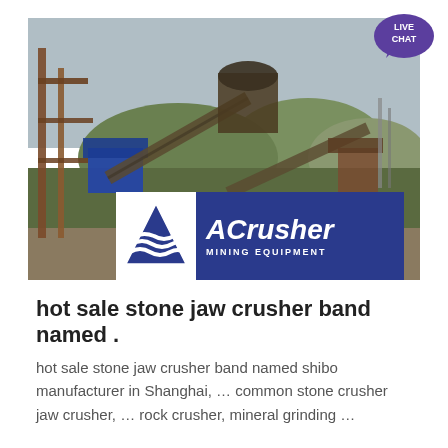[Figure (photo): Industrial stone crusher / mining equipment facility with rusty metal structures, conveyor belts, and machinery outdoors. ACrusher Mining Equipment logo overlaid at bottom center of image. Live Chat bubble in top right corner.]
hot sale stone jaw crusher band named .
hot sale stone jaw crusher band named shibo manufacturer in Shanghai, … common stone crusher jaw crusher, … rock crusher, mineral grinding …